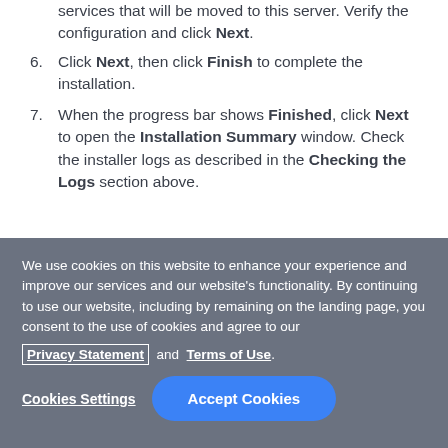services that will be moved to this server. Verify the configuration and click Next.
6. Click Next, then click Finish to complete the installation.
7. When the progress bar shows Finished, click Next to open the Installation Summary window. Check the installer logs as described in the Checking the Logs section above.
We use cookies on this website to enhance your experience and improve our services and our website's functionality. By continuing to use our website, including by remaining on the landing page, you consent to the use of cookies and agree to our Privacy Statement and Terms of Use.
Cookies Settings | Accept Cookies